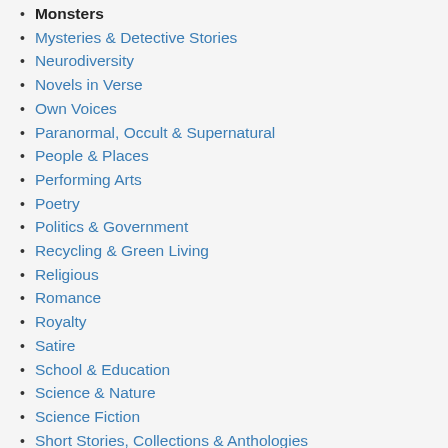Monsters
Mysteries & Detective Stories
Neurodiversity
Novels in Verse
Own Voices
Paranormal, Occult & Supernatural
People & Places
Performing Arts
Poetry
Politics & Government
Recycling & Green Living
Religious
Romance
Royalty
Satire
School & Education
Science & Nature
Science Fiction
Short Stories, Collections & Anthologies
Social Themes
Sports & Recreation
Steampunk
Superheroes
Technology
Thrillers & Suspense
Travel & Transportation
Vampires
Visionary & Metaphysical